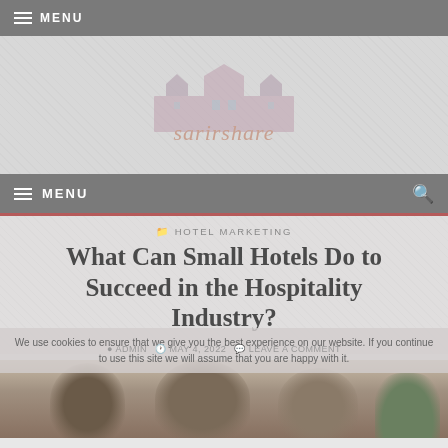≡ MENU
[Figure (logo): sarirshare website logo with illustrated building/castle graphic above stylized text]
≡ MENU
HOTEL MARKETING
What Can Small Hotels Do to Succeed in the Hospitality Industry?
We use cookies to ensure that we give you the best experience on our website. If you continue to use this site we will assume that you are happy with it.
ADMIN  MAY 4, 2022  LEAVE A COMMENT
[Figure (photo): Photo of people smiling, partially visible at bottom of page]